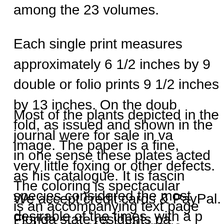among the 23 volumes.
Each single print measures approximately 6 1/2 inches by 9 double or folio prints 9 1/2 inches by 13 inches. On the doub fold, as issued and shown in the image. The paper is a fine, very little foxing or other defects. The coloring is spectacular is an accompanying text page and a copy of the title page.
Most of the plants depicted in the journal were for sale in va in one sense these plates acted as his catalogue. It is fascin species considered the most desirable of the times, with a p orchids, roses, camellias, azaleas and rhododendrons, not t plants, tropicals and other exotics. It is a true pleasure to tak to visit this illustrious nursery, the like of which would be har
We accept credit cards & PayPal. Florida state residents pa tax. Shipping for this item is $8.95 in the US. International sh and may vary according to the destination country and the s Buyers are responsible for all customs duties. Items can be postage. Our environment is smoke free. We pack professio